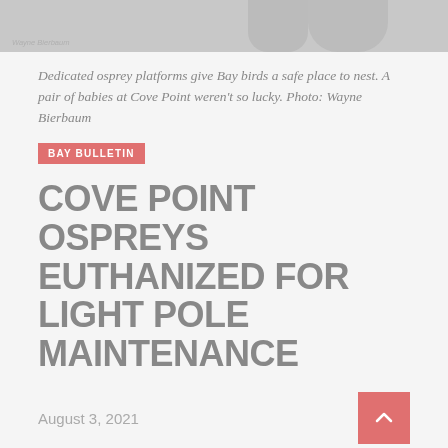[Figure (photo): Cropped top portion of a photo of ospreys, grey tones, with photo credit 'Wayne Bierbaum' watermarked on image]
Dedicated osprey platforms give Bay birds a safe place to nest. A pair of babies at Cove Point weren't so lucky. Photo: Wayne Bierbaum
BAY BULLETIN
COVE POINT OSPREYS EUTHANIZED FOR LIGHT POLE MAINTENANCE
August 3, 2021